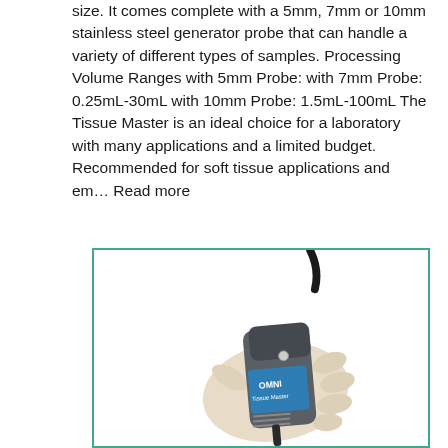size. It comes complete with a 5mm, 7mm or 10mm stainless steel generator probe that can handle a variety of different types of samples. Processing Volume Ranges with 5mm Probe: with 7mm Probe: 0.25mL-30mL with 10mm Probe: 1.5mL-100mL The Tissue Master is an ideal choice for a laboratory with many applications and a limited budget. Recommended for soft tissue applications and em… Read more
[Figure (photo): A gloved hand holding an OMNI Tissue Master handheld homogenizer device with a probe extending from the bottom, on a white background inside a teal-bordered box.]